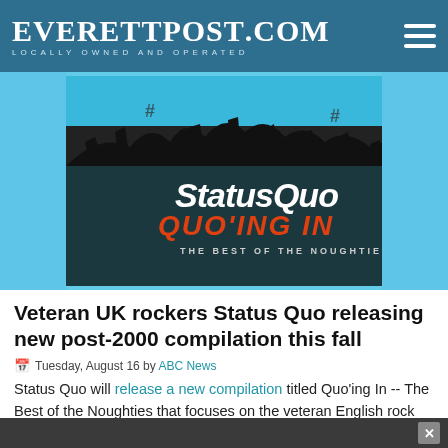EverettPost.com — Locally Owned and Operated
[Figure (photo): Status Quo 'Quo'ing In – The Best of the Noughties' album cover artwork showing silhouetted crowd against blue background with band name in white and album title in orange/black text]
Veteran UK rockers Status Quo releasing new post-2000 compilation this fall
Tuesday, August 16 by ABC News
Status Quo will release a new compilation titled Quo'ing In -- The Best of the Noughties that focuses on the veteran English rock band's career since 2000. The retrospective, which will be released on November 25,...
Read More...